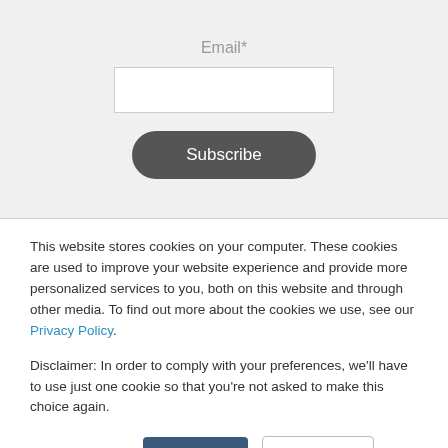Email*
[Figure (screenshot): Email input field (empty white text box)]
[Figure (screenshot): Subscribe button (dark rounded rectangle)]
This website stores cookies on your computer. These cookies are used to improve your website experience and provide more personalized services to you, both on this website and through other media. To find out more about the cookies we use, see our Privacy Policy.
Disclaimer: In order to comply with your preferences, we'll have to use just one cookie so that you're not asked to make this choice again.
Cookie Settings
Accept
Decline